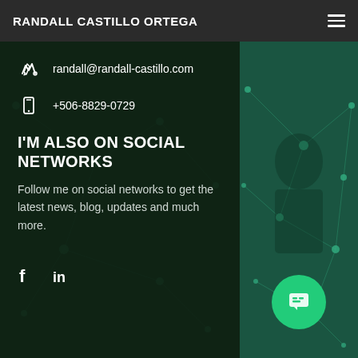RANDALL CASTILLO ORTEGA
randall@randall-castillo.com
+506-8829-0729
I'M ALSO ON SOCIAL NETWORKS
Follow me on social networks to get the latest news, blog, updates and much more.
[Figure (other): Facebook and LinkedIn social media icons]
[Figure (other): Right panel with teal network graph background image and person silhouette, plus green chat button]